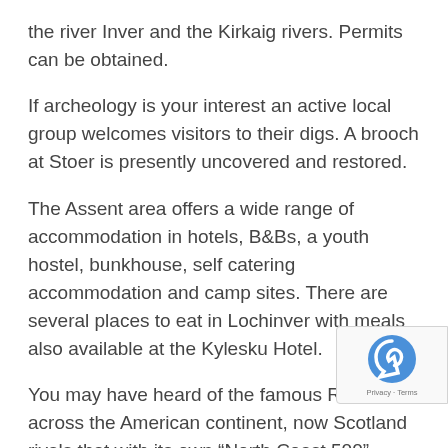the river Inver and the Kirkaig rivers. Permits can be obtained.
If archeology is your interest an active local group welcomes visitors to their digs. A brooch at Stoer is presently uncovered and restored.
The Assent area offers a wide range of accommodation in hotels, B&Bs, a youth hostel, bunkhouse, self catering accommodation and camp sites. There are several places to eat in Lochinver with meals also available at the Kylesku Hotel.
You may have heard of the famous Route 66 across the American continent, now Scotland rivals that with its own “North Coast 500” inviting cars, motorbikes and cyclists to explore its dramatic coastline. Even though everyone welcomes visitors on this route we ask of you to stop for a moment and...